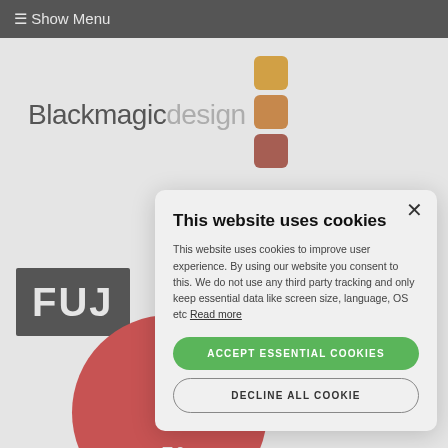☰ Show Menu
[Figure (logo): Blackmagic Design logo with text 'Blackmagicdesign' and three stacked colored squares (orange, dark orange, dark red)]
[Figure (logo): FUJI text logo in white bold font on dark background]
[Figure (logo): Leica red circle logo with italic script text]
This website uses cookies
This website uses cookies to improve user experience. By using our website you consent to this. We do not use any third party tracking and only keep essential data like screen size, language, OS etc Read more
ACCEPT ESSENTIAL COOKIES
DECLINE ALL COOKIE